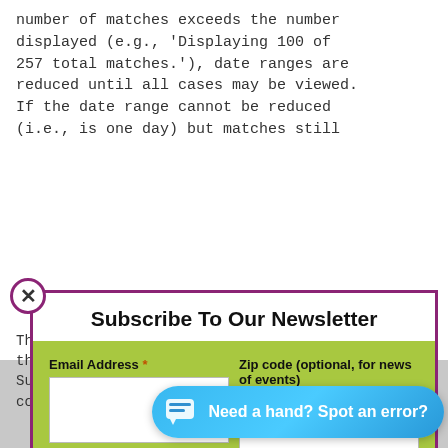number of matches exceeds the number displayed (e.g., 'Displaying 100 of 257 total matches.'), date ranges are reduced until all cases may be viewed. If the date range cannot be reduced (i.e., is one day) but matches still
[Figure (screenshot): Newsletter subscription modal dialog with purple border, close button (x), title 'Subscribe To Our Newsletter', green form area with Email Address and Zip code fields, and a SUBSCRIBE button]
This error costs more than the Summary spread... copying exact...
[Figure (screenshot): Blue rounded chat/help button with chat icon and text 'Need a hand? Spot an error?']